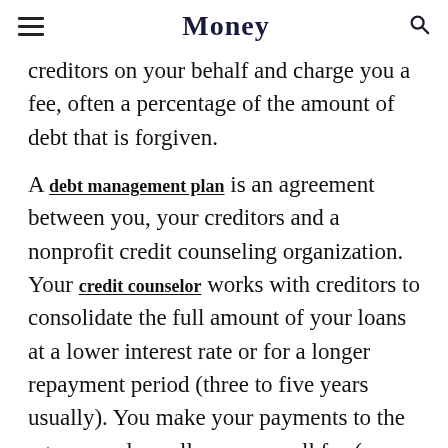Money
creditors on your behalf and charge you a fee, often a percentage of the amount of debt that is forgiven.
A debt management plan is an agreement between you, your creditors and a nonprofit credit counseling organization. Your credit counselor works with creditors to consolidate the full amount of your loans at a lower interest rate or for a longer repayment period (three to five years usually). You make your payments to the agency and usually pay a small fee (max $50 a month).